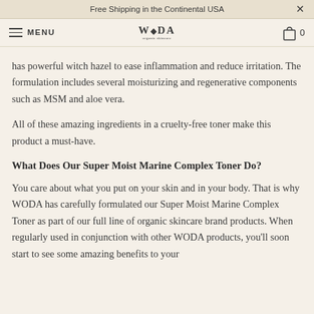Free Shipping in the Continental USA
MENU  WODA  0
has powerful witch hazel to ease inflammation and reduce irritation. The formulation includes several moisturizing and regenerative components such as MSM and aloe vera.
All of these amazing ingredients in a cruelty-free toner make this product a must-have.
What Does Our Super Moist Marine Complex Toner Do?
You care about what you put on your skin and in your body. That is why WODA has carefully formulated our Super Moist Marine Complex Toner as part of our full line of organic skincare brand products. When regularly used in conjunction with other WODA products, you'll soon start to see some amazing benefits to your